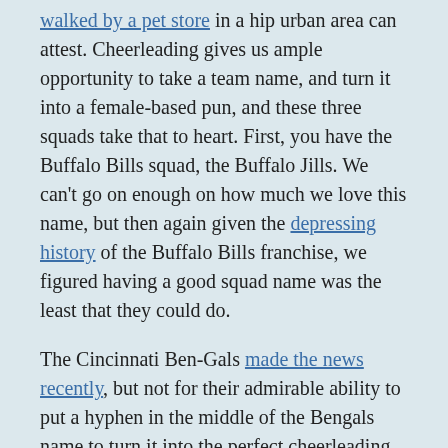walked by a pet store in a hip urban area can attest.  Cheerleading gives us ample opportunity to take a team name, and turn it into a female-based pun, and these three squads take that to heart.  First, you have the Buffalo Bills squad, the Buffalo Jills.  We can't go on enough on how much we love this name, but then again given the depressing history of the Buffalo Bills franchise, we figured having a good squad name was the least that they could do.
The Cincinnati Ben-Gals made the news recently, but not for their admirable ability to put a hyphen in the middle of the Bengals name to turn it into the perfect cheerleading pun (hint, it involved getting arrested for sex with a minor).  Finally, we have the Jets Flight Crew, which isn't so much a lady pun as it is